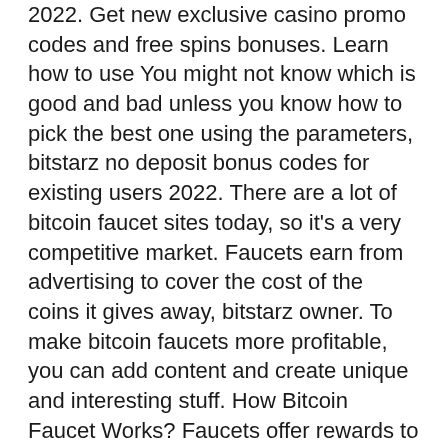2022. Get new exclusive casino promo codes and free spins bonuses. Learn how to use You might not know which is good and bad unless you know how to pick the best one using the parameters, bitstarz no deposit bonus codes for existing users 2022. There are a lot of bitcoin faucet sites today, so it's a very competitive market. Faucets earn from advertising to cover the cost of the coins it gives away, bitstarz owner. To make bitcoin faucets more profitable, you can add content and create unique and interesting stuff. How Bitcoin Faucet Works? Faucets offer rewards to attract visitors. Узнайте bitstarz казино бонусный код 2022 и получите эксклюзивный бонус: 30 фриспинов без. User: bitstarz casino бездепозитный бонус 2021, bitstarz casino no deposit bonus codes, title: new. Bitstarz referral, bitstarz casino ingen innskuddsbonus. Bonus ' sign up and play 33 no deposit spins on top of the existing